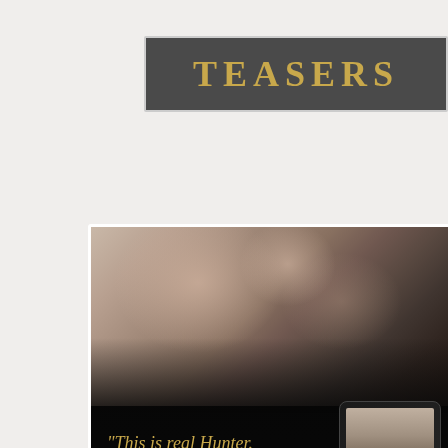TEASERS
[Figure (illustration): Book teaser card for 'Imperfect Saint' by Jess Bryant. Top portion shows a romantic couple about to kiss against a soft-lit background. Bottom portion has a dark background with a gold script quote: 'This is real Hunter.' followed by bold white uppercase text: 'IT'S SO REAL IT SCARES THE HELL OUT OF ME.' A tablet device showing the book cover of 'Imperfect Saint' by Jess Bryant appears in the lower right corner.]